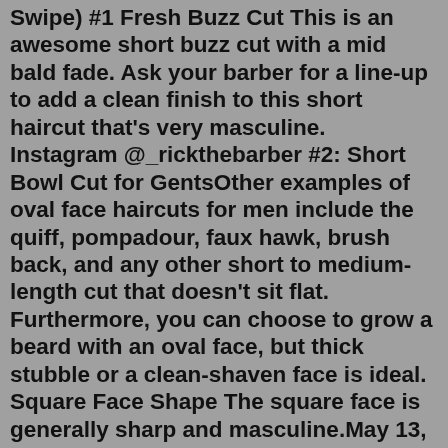Swipe) #1 Fresh Buzz Cut This is an awesome short buzz cut with a mid bald fade. Ask your barber for a line-up to add a clean finish to this short haircut that's very masculine. Instagram @_rickthebarber #2: Short Bowl Cut for GentsOther examples of oval face haircuts for men include the quiff, pompadour, faux hawk, brush back, and any other short to medium-length cut that doesn't sit flat. Furthermore, you can choose to grow a beard with an oval face, but thick stubble or a clean-shaven face is ideal. Square Face Shape The square face is generally sharp and masculine.May 13, 2022 · 22. Short Curly Hairstyles For Black Men. Here is yet another one of the short curly hairstyles for men that stands out for its uniqueness. This one comes with a taper fade. The rest of the hair on top has been cut to create an equalized volume all over. It is the best hairstyle for those with tight curls. IMAGE COURTESY : PINTEREST. 23. Angled Cut Before your next haircut, get inspired by these pictures of short hair styles for men. (Tap or Swipe) #1 Fresh Buzz Cut This